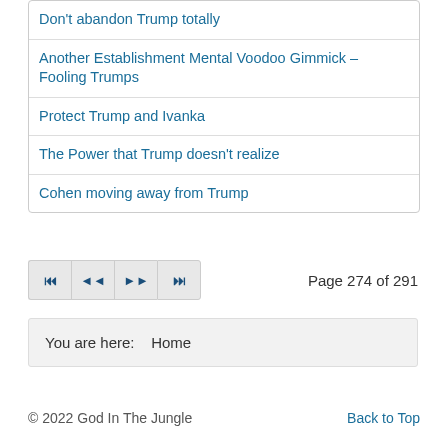Don't abandon Trump totally
Another Establishment Mental Voodoo Gimmick – Fooling Trumps
Protect Trump and Ivanka
The Power that Trump doesn't realize
Cohen moving away from Trump
Page 274 of 291
You are here:    Home
© 2022 God In The Jungle    Back to Top